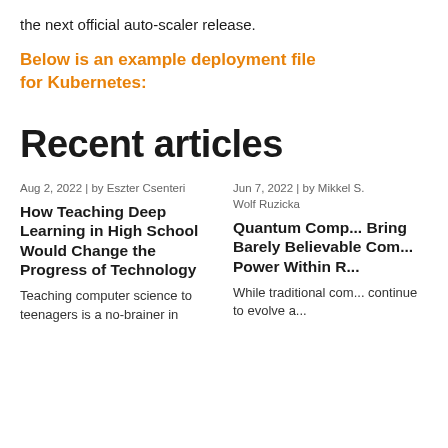the next official auto-scaler release.
Below is an example deployment file for Kubernetes:
Recent articles
Aug 2, 2022 | by Eszter Csenteri
Jun 7, 2022 | by Mikkel S. Wolf Ruzicka
How Teaching Deep Learning in High School Would Change the Progress of Technology
Quantum Comp... Bring Barely Believable Com... Power Within R...
Teaching computer science to teenagers is a no-brainer in
While traditional com... continue to evolve a...